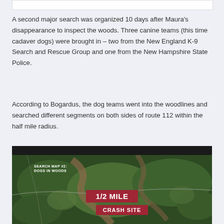A second major search was organized 10 days after Maura's disappearance to inspect the woods. Three canine teams (this time cadaver dogs) were brought in – two from the New England K-9 Search and Rescue Group and one from the New Hampshire State Police.
According to Bogardus, the dog teams went into the woodlines and searched different segments on both sides of route 112 within the half mile radius.
[Figure (map): Aerial satellite map labeled 'SEARCH MAP #2: DOGS IN WOODS' showing forested terrain with a river. Two red badges overlay the map: '1/2 MILE' and 'CRASH SITE'.]